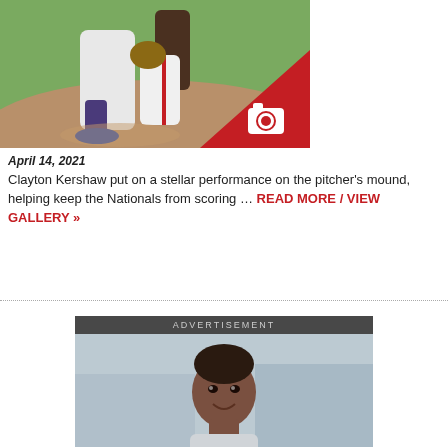[Figure (photo): Baseball photo showing a player sliding at a base, with a red triangle overlay in the bottom right corner containing a camera icon]
April 14, 2021
Clayton Kershaw put on a stellar performance on the pitcher's mound, helping keep the Nationals from scoring … READ MORE / VIEW GALLERY »
[Figure (photo): Advertisement banner showing a man smiling, with ADVERTISEMENT label at top]